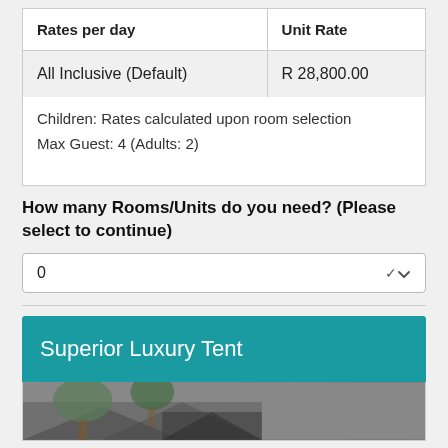| Rates per day | Unit Rate |
| --- | --- |
| All Inclusive (Default) | R 28,800.00 |
Children: Rates calculated upon room selection
Max Guest: 4 (Adults: 2)
How many Rooms/Units do you need? (Please select to continue)
0
Superior Luxury Tent
[Figure (photo): Partially visible photo of Superior Luxury Tent exterior, showing trees and tent roof]